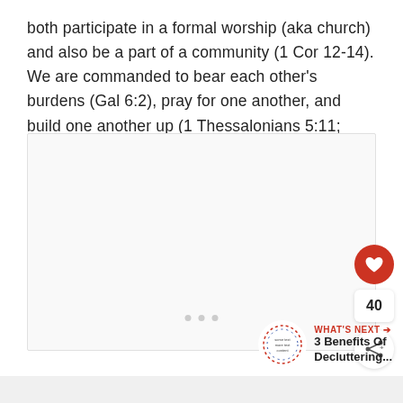both participate in a formal worship (aka church) and also be a part of a community (1 Cor 12-14). We are commanded to bear each other's burdens (Gal 6:2), pray for one another, and build one another up (1 Thessalonians 5:11; Hebrews 3:13).
[Figure (photo): Image placeholder area with light gray background and navigation dots at the bottom]
[Figure (infographic): WHAT'S NEXT promotional widget showing a circular logo and text '3 Benefits Of Decluttering...']